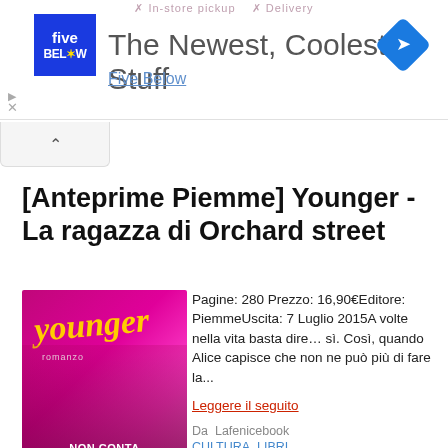[Figure (screenshot): Advertisement banner for Five Below: 'The Newest, Coolest Stuff' with blue logo and navigation diamond icon. Top shows strikethrough text '✗ In-store pickup ✗ Delivery'. Collapse/chevron button below.]
[Anteprime Piemme] Younger - La ragazza di Orchard street
[Figure (photo): Book cover for 'Younger' romanzo. Pink/magenta background with yellow cursive 'younger' title text. Bottom text reads 'NON CONTA L'ETÀ CHE HAI'.]
Pagine: 280 Prezzo: 16,90€Editore: PiemmeUscita: 7 Luglio 2015A volte nella vita basta dire… sì. Così, quando Alice capisce che non ne può più di fare la...
Leggere il seguito
Da  Lafenicebook
CULTURA, LIBRI